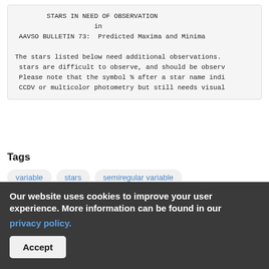STARS IN NEED OF OBSERVATION
in
AAVSO BULLETIN 73:  Predicted Maxima and Minima

The stars listed below need additional observations. stars are difficult to observe, and should be observ Please note that the symbol % after a star name indi CCDV or multicolor photometry but still needs visual
Tags
variable
stars
semiregular variable
prediction
predicted
mira variable
minima
maxima
long-period variable
Our website uses cookies to improve your user experience. More information can be found in our privacy policy.